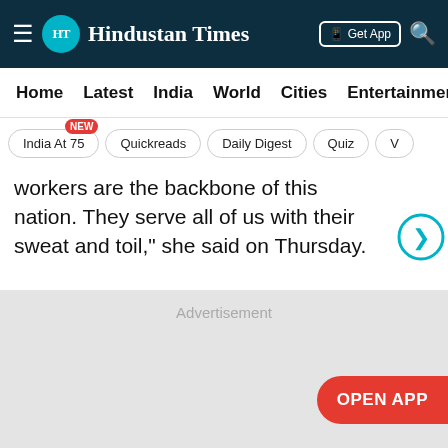HT Hindustan Times
Home  Latest  India  World  Cities  Entertainment
India At 75  Quickreads  Daily Digest  Quiz  V
workers are the backbone of this nation. They serve all of us with their sweat and toil," she said on Thursday.
[Figure (other): Advertisement placeholder area (grey box)]
OPEN APP